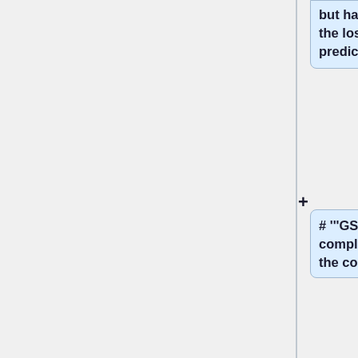but has no role to play in the loss function of predicted actions.
# '''GSP''' refers to the complete method with all the components.
==Experiments==
The model is evaluated by testing performance on a rope